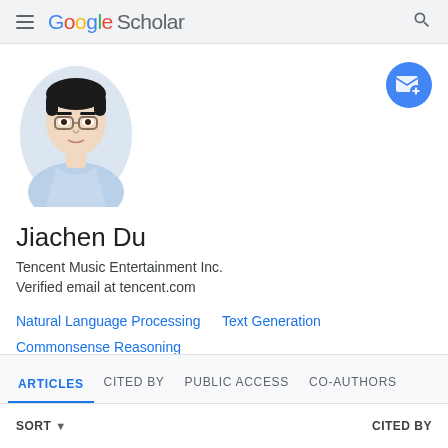Google Scholar
[Figure (photo): Profile photo of Jiachen Du, a man wearing glasses and a light blue shirt]
Jiachen Du
Tencent Music Entertainment Inc.
Verified email at tencent.com
Natural Language Processing
Text Generation
Commonsense Reasoning
ARTICLES  CITED BY  PUBLIC ACCESS  CO-AUTHORS
SORT  CITED BY